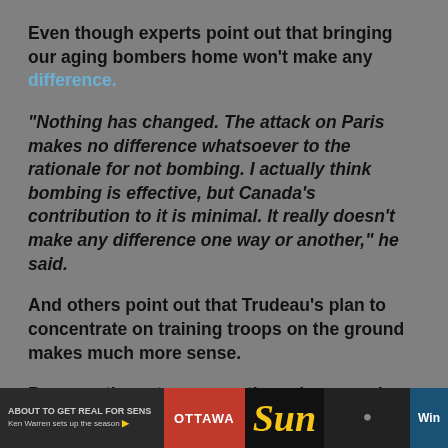Even though experts point out that bringing our aging bombers home won't make any difference.
“Nothing has changed. The attack on Paris makes no difference whatsoever to the rationale for not bombing. I actually think bombing is effective, but Canada’s contribution to it is minimal. It really doesn’t make any difference one way or another,” he said.
And others point out that Trudeau's plan to concentrate on training troops on the ground makes much more sense.
Because those troops are the only ones who can defeat ISIS.
But of course Kenney is not alone. Postmedia's boss Paul Godfrey has instructed his reporters to do all they can to bring Justin Trudeau down.
[Figure (screenshot): Bottom strip showing a TV news banner with 'OTTAWA' text and Sun News branding with 'WIN' badge, and a small caption on left reading 'ABOUT TO GET REAL FOR SENS Ken Warren sets up the season']